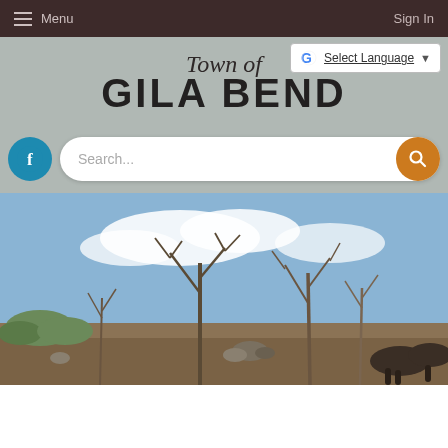Menu | Sign In
[Figure (screenshot): Town of Gila Bend government website header with logo, Google Translate widget, Facebook icon, search bar, and hero landscape photo of desert scene with dry trees against blue sky]
Town of GILA BEND
Select Language
Search...